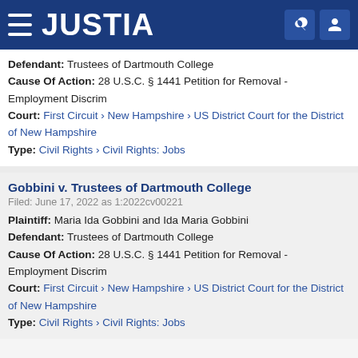JUSTIA
Defendant: Trustees of Dartmouth College
Cause Of Action: 28 U.S.C. § 1441 Petition for Removal - Employment Discrim
Court: First Circuit › New Hampshire › US District Court for the District of New Hampshire
Type: Civil Rights › Civil Rights: Jobs
Gobbini v. Trustees of Dartmouth College
Filed: June 17, 2022 as 1:2022cv00221
Plaintiff: Maria Ida Gobbini and Ida Maria Gobbini
Defendant: Trustees of Dartmouth College
Cause Of Action: 28 U.S.C. § 1441 Petition for Removal - Employment Discrim
Court: First Circuit › New Hampshire › US District Court for the District of New Hampshire
Type: Civil Rights › Civil Rights: Jobs